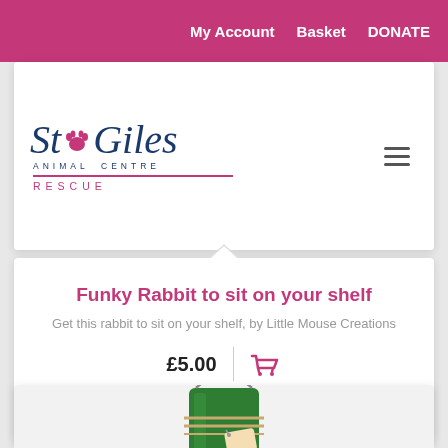My Account  Basket  DONATE
[Figure (logo): St Giles Animal Centre Rescue logo with paw print]
Funky Rabbit to sit on your shelf
Get this rabbit to sit on your shelf, by Little Mouse Creations
£5.00
[Figure (photo): Green jar with twine and gift tag product photo]